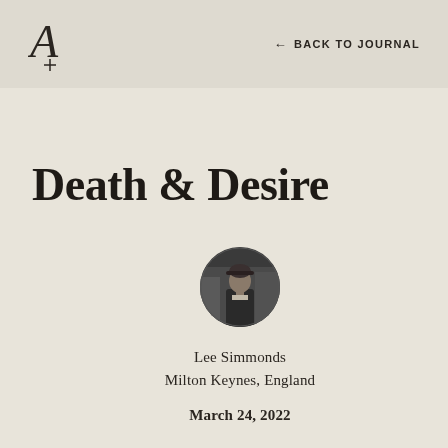← BACK TO JOURNAL
Death & Desire
[Figure (photo): Circular black and white author portrait photo of Lee Simmonds]
Lee Simmonds
Milton Keynes, England
March 24, 2022